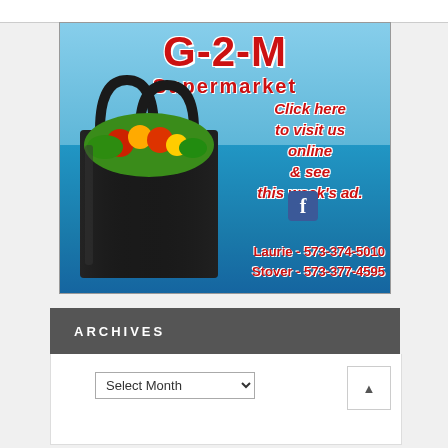[Figure (illustration): G-2-M Supermarket advertisement banner showing a black reusable grocery bag filled with produce, aerial lake/forest background, text: 'Click here to visit us online & see this week's ad.', Facebook icon, phone numbers for Laurie (573-374-5010) and Stover (573-377-4595)]
ARCHIVES
Select Month